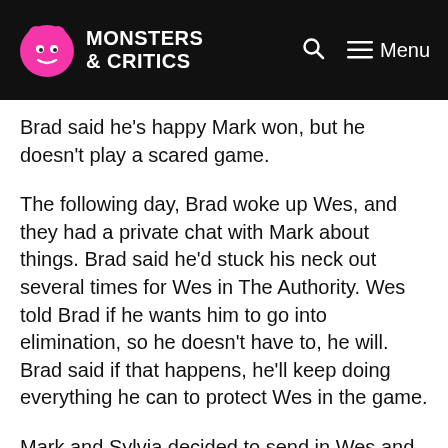Monsters & Critics | Menu
Brad said he’s happy Mark won, but he doesn’t play a scared game.
The following day, Brad woke up Wes, and they had a private chat with Mark about things. Brad said he’d stuck his neck out several times for Wes in The Authority. Wes told Brad if he wants him to go into elimination, so he doesn’t have to, he will. Brad said if that happens, he’ll keep doing everything he can to protect Wes in the game.
Mark and Sylvia decided to send in Wes and Jonna. They showed a scene where Jonna told Sylvia at the club the night before to choose her instead of Beth, taking away Beth’s choice.